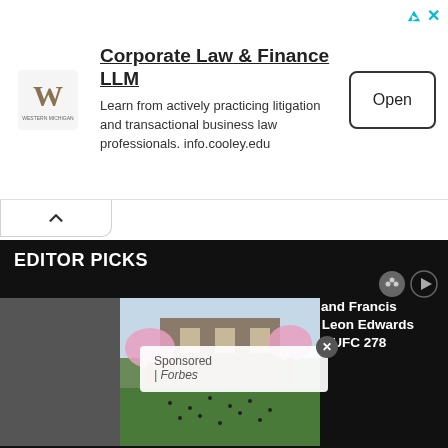[Figure (screenshot): Advertisement banner for Corporate Law & Finance LLM from Cooley Law School (Western Michigan University). Logo on left, ad title and body text in center, Open button on right. Icons for ad info and close in top-right.]
Corporate Law & Finance LLM
Learn from actively practicing litigation and transactional business law professionals. info.cooley.edu
Open
EDITOR PICKS
Conor McGregor and Francis Ngannou hail NE Leon Edwards KO of Kamaru n at UFC 278
Sponsored | Forbes
21, 2022